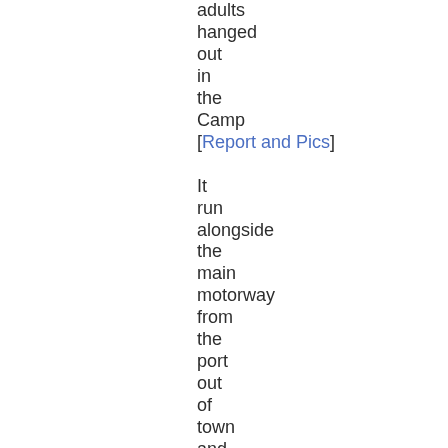adults hanged out in the Camp [Report and Pics] It run alongside the main motorway from the port out of town and it was just a